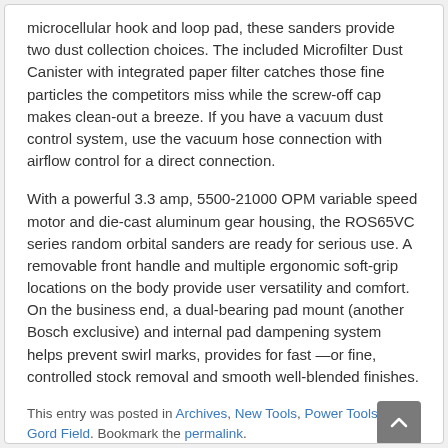microcellular hook and loop pad, these sanders provide two dust collection choices. The included Microfilter Dust Canister with integrated paper filter catches those fine particles the competitors miss while the screw-off cap makes clean-out a breeze. If you have a vacuum dust control system, use the vacuum hose connection with airflow control for a direct connection.
With a powerful 3.3 amp, 5500-21000 OPM variable speed motor and die-cast aluminum gear housing, the ROS65VC series random orbital sanders are ready for serious use. A removable front handle and multiple ergonomic soft-grip locations on the body provide user versatility and comfort. On the business end, a dual-bearing pad mount (another Bosch exclusive) and internal pad dampening system helps prevent swirl marks, provides for fast —or fine, controlled stock removal and smooth well-blended finishes.
This entry was posted in Archives, New Tools, Power Tools by Gord Field. Bookmark the permalink.